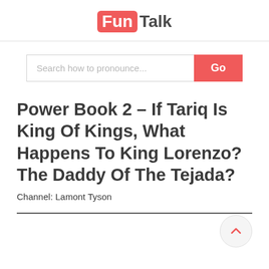FunTalk
[Figure (other): Search bar with placeholder text 'Search how to pronounce...' and a red 'Go' button]
Power Book 2 - If Tariq Is King Of Kings, What Happens To King Lorenzo? The Daddy Of The Tejada?
Channel: Lamont Tyson